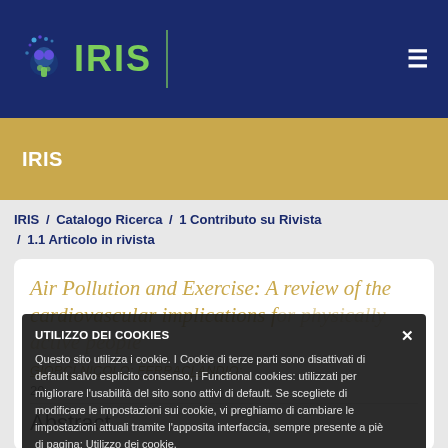[Figure (logo): IRIS repository logo with green tree/brain icon and green IRIS text on dark navy background]
IRIS
IRIS / Catalogo Ricerca / 1 Contributo su Rivista / 1.1 Articolo in rivista
Air Pollution and Exercise: A review of the cardiovascular implications for physically active people
GIORGI NICOLO; FERRACI ANDREA;
20...
Abstract
UTILIZZO DEI COOKIES
Questo sito utilizza i cookie. I Cookie di terze parti sono disattivati di default salvo esplicito consenso, i Functional cookies: utilizzati per migliorare l'usabilità del sito sono attivi di default. Se scegliete di modificare le impostazioni sui cookie, vi preghiamo di cambiare le impostazioni attuali tramite l'apposita interfaccia, sempre presente a piè di pagina: Utilizzo dei cookie.